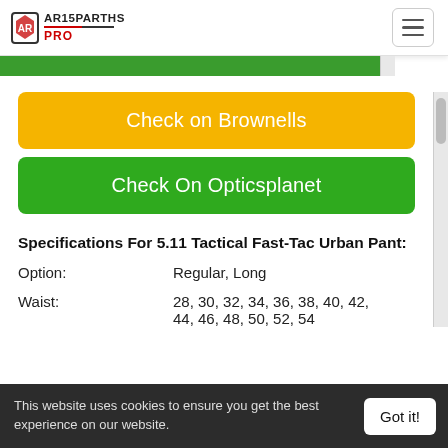AR15PARTHS PRO
Check on Brownells
Check On Opticsplanet
Specifications For 5.11 Tactical Fast-Tac Urban Pant:
Option: Regular, Long
Waist: 28, 30, 32, 34, 36, 38, 40, 42, 44, 46, 48, 50, 52, 54
This website uses cookies to ensure you get the best experience on our website.